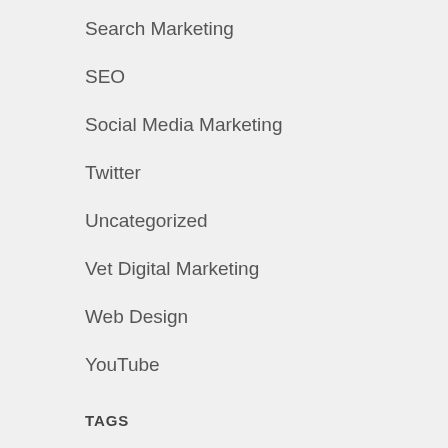Search Marketing
SEO
Social Media Marketing
Twitter
Uncategorized
Vet Digital Marketing
Web Design
YouTube
TAGS
Advertising, AdWords, Air Marketing, arizona, Blog, bloggers, blogging,